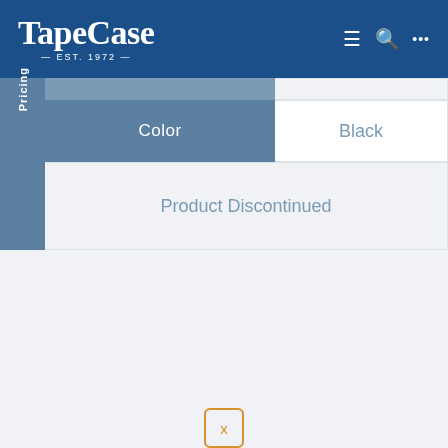TapeCase EST. 1972
|  | Color | Black |
| --- | --- | --- |
| Pricing | Product Discontinued |  |
Description and Features
This website collects cookies in order to give you the best service we can. By continuing to browse the website you are agreeing to our use of cookies.